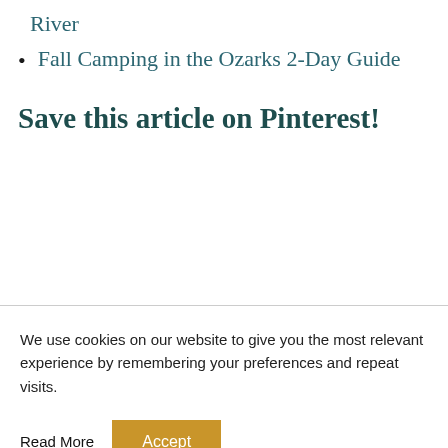River
Fall Camping in the Ozarks 2-Day Guide
Save this article on Pinterest!
We use cookies on our website to give you the most relevant experience by remembering your preferences and repeat visits.
Read More
Accept